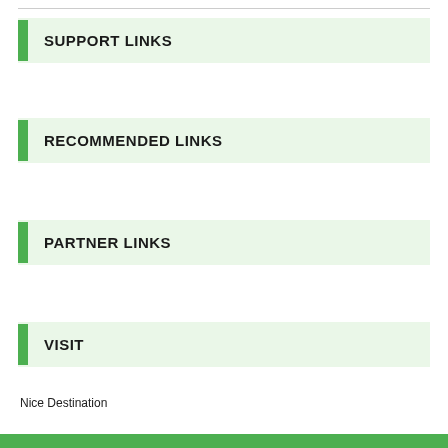SUPPORT LINKS
RECOMMENDED LINKS
PARTNER LINKS
VISIT
Nice Destination